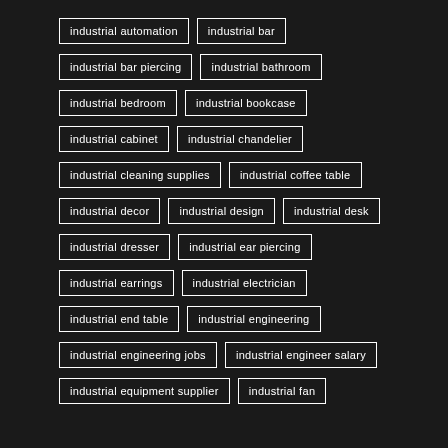industrial automation
industrial bar
industrial bar piercing
industrial bathroom
industrial bedroom
industrial bookcase
industrial cabinet
industrial chandelier
industrial cleaning supplies
industrial coffee table
industrial decor
industrial design
industrial desk
industrial dresser
industrial ear piercing
industrial earrings
industrial electrician
industrial end table
industrial engineering
industrial engineering jobs
industrial engineer salary
industrial equipment supplier
industrial fan